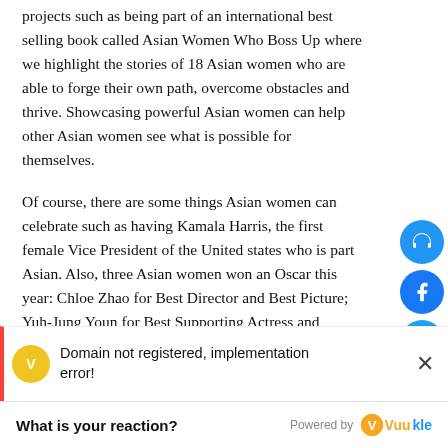projects such as being part of an international best selling book called Asian Women Who Boss Up where we highlight the stories of 18 Asian women who are able to forge their own path, overcome obstacles and thrive. Showcasing powerful Asian women can help other Asian women see what is possible for themselves.
Of course, there are some things Asian women can celebrate such as having Kamala Harris, the first female Vice President of the United states who is part Asian. Also, three Asian women won an Oscar this year: Chloe Zhao for Best Director and Best Picture; Yuh-Jung Youn for Best Supporting Actress and H.E.R. for Best Original Song.
Celebrating the achievements of Asian women are just as
[Figure (infographic): Social share buttons on the right side: headphones (blue), Facebook (blue), Twitter (light blue), WhatsApp (green), comment/chat (red)]
Domain not registered, implementation error!
What is your reaction?    Powered by Vuukle